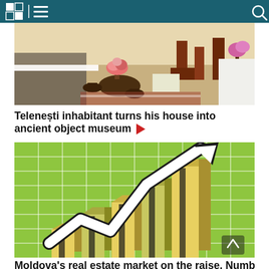Navigation header with logo, menu icon, and search icon
[Figure (photo): Interior of a house museum showing antique wooden furniture, chairs, tables, flower decorations, and traditional items on display]
Telenesti inhabitant turns his house into ancient object museum ▶
[Figure (illustration): 3D illustration of a rising bar chart with a white upward trend arrow on a green tiled background, representing real estate market growth]
Moldova's real estate market on the raise. Number